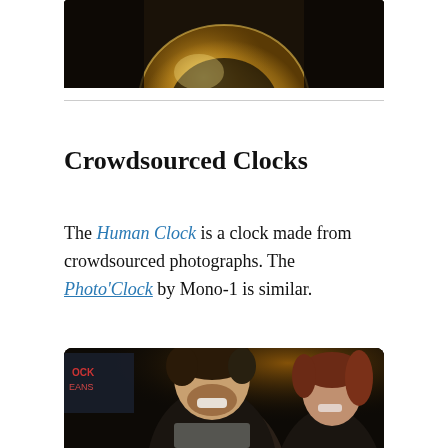[Figure (photo): Top portion of a photo showing a golden/brass clock element against a dark background]
Crowdsourced Clocks
The Human Clock is a clock made from crowdsourced photographs. The Photo'Clock by Mono-1 is similar.
[Figure (photo): Photo of two people smiling — a man with curly hair and beard wearing a leather jacket and scarf, and a woman with reddish-brown hair, taken in a dimly lit venue with lights in the background]